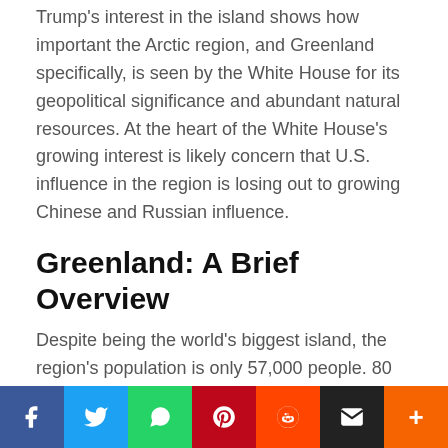Trump's interest in the island shows how important the Arctic region, and Greenland specifically, is seen by the White House for its geopolitical significance and abundant natural resources. At the heart of the White House's growing interest is likely concern that U.S. influence in the region is losing out to growing Chinese and Russian influence.
Greenland: A Brief Overview
Despite being the world's biggest island, the region's population is only 57,000 people. 80 percent of the island is blanketed by ice caps. The island's capital is Nuuk.
[Figure (infographic): Social media sharing bar with buttons for Facebook, Twitter, WhatsApp, Pinterest, Reddit, Email, and More]